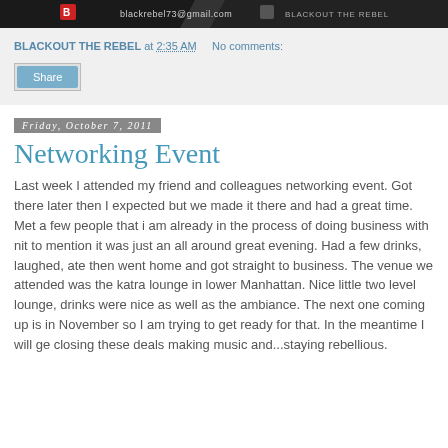[Figure (screenshot): Dark banner image showing email blackrebel73@gmail.com and text BLACKOUT THE REBEL]
BLACKOUT THE REBEL at 2:35 AM   No comments:
Share
Friday, October 7, 2011
Networking Event
Last week I attended my friend and colleagues networking event. Got there later then I expected but we made it there and had a great time. Met a few people that i am already in the process of doing business with nit to mention it was just an all around great evening. Had a few drinks, laughed, ate then went home and got straight to business. The venue we attended was the katra lounge in lower Manhattan. Nice little two level lounge, drinks were nice as well as the ambiance. The next one coming up is in November so I am trying to get ready for that. In the meantime I will ge closing these deals making music and...staying rebellious.